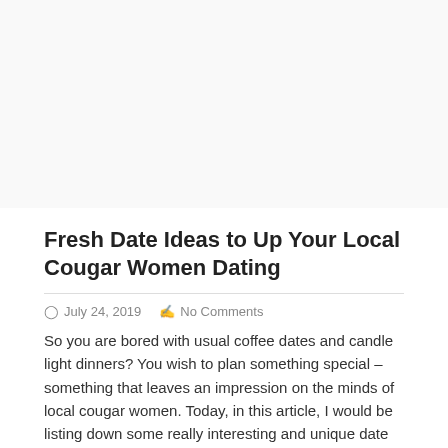Fresh Date Ideas to Up Your Local Cougar Women Dating
July 24, 2019   No Comments
So you are bored with usual coffee dates and candle light dinners? You wish to plan something special – something that leaves an impression on the minds of local cougar women. Today, in this article, I would be listing down some really interesting and unique date ideas. So scroll down and see which one is […]
Read More →